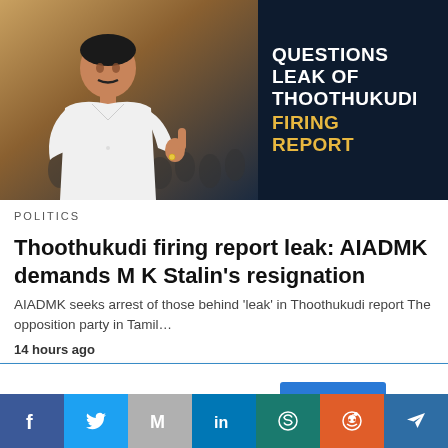[Figure (photo): News thumbnail showing a man in white shirt giving thumbs up on left side, dark navy background with text overlay on right side reading 'QUESTIONS LEAK OF THOOTHUKUDI FIRING REPORT']
POLITICS
Thoothukudi firing report leak: AIADMK demands M K Stalin’s resignation
AIADMK seeks arrest of those behind ‘leak’ in Thoothukudi report The opposition party in Tamil…
14 hours ago
This website uses cookies.
Accept
Facebook | Twitter | Email | LinkedIn | WhatsApp | Reddit | Telegram